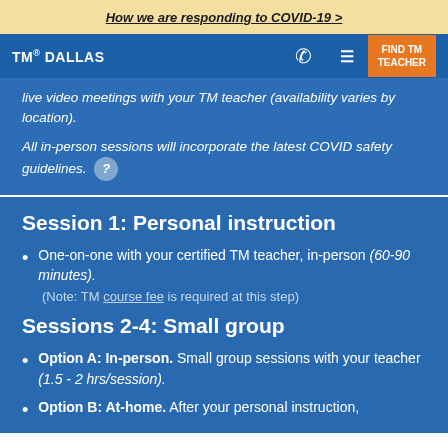How we are responding to COVID-19 >
TM® DALLAS
live video meetings with your TM teacher (availability varies by location).
All in-person sessions will incorporate the latest COVID safety guidelines. ?
Session 1: Personal instruction
One-on-one with your certified TM teacher, in-person (60-90 minutes).
(Note: TM course fee is required at this step)
Sessions 2-4: Small group
Option A: In-person. Small group sessions with your teacher (1.5 - 2 hrs/session).
Option B: At-home. After your personal instruction,